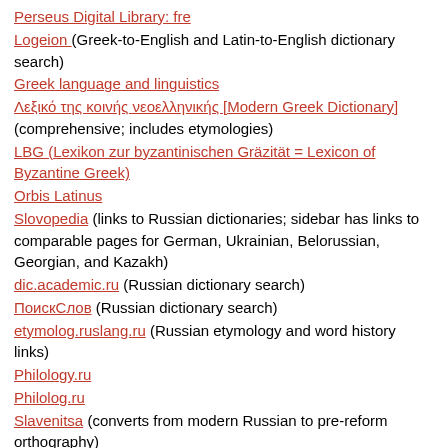Perseus Digital Library: fre
Logeion (Greek-to-English and Latin-to-English dictionary search)
Greek language and linguistics
Λεξικό της κοινής νεοελληνικής [Modern Greek Dictionary] (comprehensive; includes etymologies)
LBG (Lexikon zur byzantinischen Gräzität = Lexicon of Byzantine Greek)
Orbis Latinus
Slovopedia (links to Russian dictionaries; sidebar has links to comparable pages for German, Ukrainian, Belorussian, Georgian, and Kazakh)
dic.academic.ru (Russian dictionary search)
ПоискСлов (Russian dictionary search)
etymolog.ruslang.ru (Russian etymology and word history links)
Philology.ru
Philolog.ru
Slavenitsa (converts from modern Russian to pre-reform orthography)
Minority Languages of Russia
Ru_slang (Russian)
Vasmer's etymological dictionary(Russian)